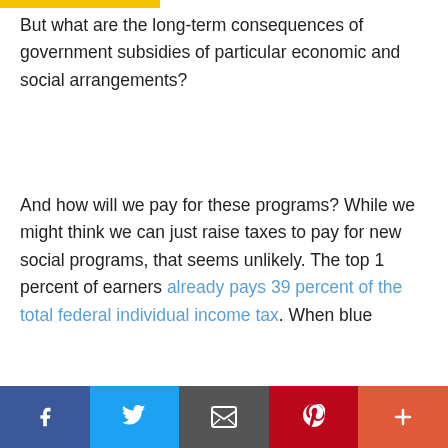But what are the long-term consequences of government subsidies of particular economic and social arrangements?
And how will we pay for these programs? While we might think we can just raise taxes to pay for new social programs, that seems unlikely. The top 1 percent of earners already pays 39 percent of the total federal individual income tax. When blue
We use cookies on our website to give you the most relevant experience by remembering your preferences and repeat visits. By clicking “Accept All”, you consent to the use of ALL the cookies. However, you may visit "Cookie Settings" to provide a controlled consent.
Social share bar: Facebook, Twitter, Email, Pinterest, More